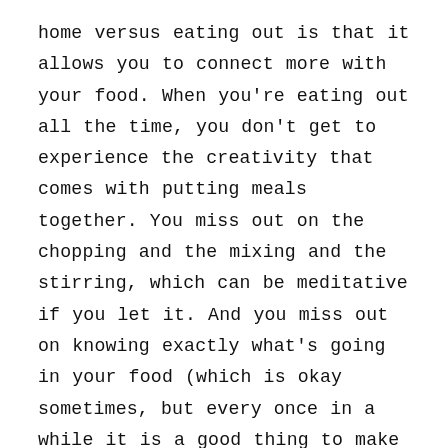home versus eating out is that it allows you to connect more with your food. When you're eating out all the time, you don't get to experience the creativity that comes with putting meals together. You miss out on the chopping and the mixing and the stirring, which can be meditative if you let it. And you miss out on knowing exactly what's going in your food (which is okay sometimes, but every once in a while it is a good thing to make that connection).
I want to mention that I am definitely not immune to eating out. Just because I'm a RD and writing this post doesn't mean that I home-cook every meal or am completely against eating at restaurants. Trying new restaurants is actually one of my favorite things